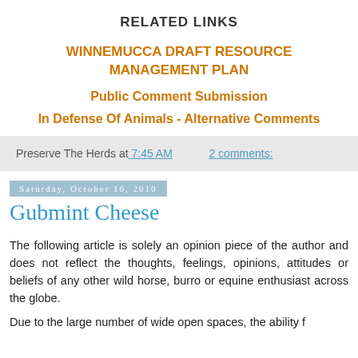RELATED LINKS
WINNEMUCCA DRAFT RESOURCE MANAGEMENT PLAN
Public Comment Submission
In Defense Of Animals - Alternative Comments
Preserve The Herds at 7:45 AM    2 comments:
Saturday, October 16, 2010
Gubmint Cheese
The following article is solely an opinion piece of the author and does not reflect the thoughts, feelings, opinions, attitudes or beliefs of any other wild horse, burro or equine enthusiast across the globe.
Due to the large number of wide open spaces, the ability f...